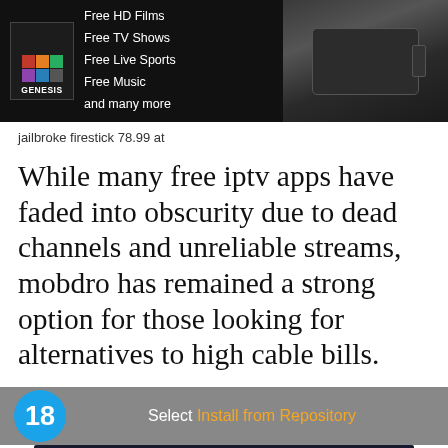[Figure (screenshot): Screenshot of Genesis IPTV app advertisement showing free HD films, TV shows, live sports, music, with a firestick device image]
jailbroke firestick 78.99 at
While many free iptv apps have faded into obscurity due to dead channels and unreliable streams, mobdro has remained a strong option for those looking for alternatives to high cable bills.
[Figure (screenshot): Step 18 instruction screenshot: Select Install from Repository, shown with a blue circle numbered 18 on a grey bar]
[Figure (screenshot): Screenshot of Kodi Add-ons / Add-on browser interface showing 12:00 PM]